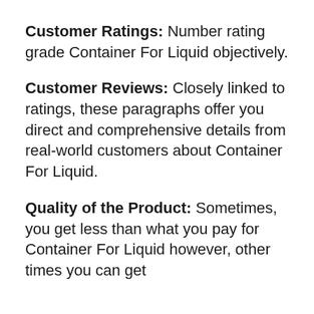Customer Ratings: Number rating grade Container For Liquid objectively.
Customer Reviews: Closely linked to ratings, these paragraphs offer you direct and comprehensive details from real-world customers about Container For Liquid.
Quality of the Product: Sometimes, you get less than what you pay for Container For Liquid however, other times you can get